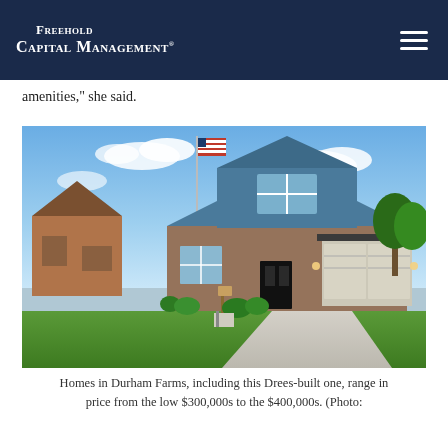Freehold Capital Management
amenities,” she said.
[Figure (photo): Exterior photo of a Drees-built home in Durham Farms community with an American flag, brick and blue siding facade, two-car garage, and manicured lawn under a blue sky.]
Homes in Durham Farms, including this Drees-built one, range in price from the low $300,000s to the $400,000s. (Photo: